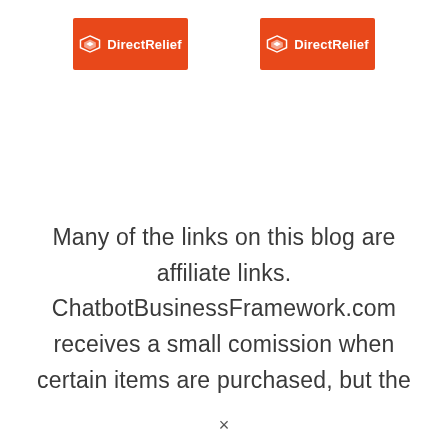[Figure (logo): Direct Relief logo badge (orange background, white icon and text) — appears twice side by side]
Many of the links on this blog are affiliate links. ChatbotBusinessFramework.com receives a small comission when certain items are purchased, but the
×